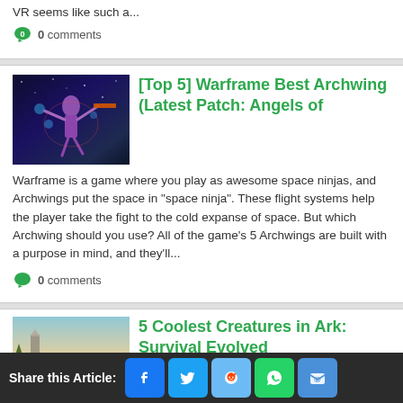VR seems like such a...
0 comments
[Top 5] Warframe Best Archwing (Latest Patch: Angels of
Warframe is a game where you play as awesome space ninjas, and Archwings put the space in “space ninja”. These flight systems help the player take the fight to the cold expanse of space. But which Archwing should you use? All of the game’s 5 Archwings are built with a purpose in mind, and they’ll...
0 comments
5 Coolest Creatures in Ark: Survival Evolved
Tame the coolest creatures... Ark: Survival Evolved is an open-world survival game that includes, you guessed it, dinosaurs! It’s still technically in early-access, but there’s so much content already that it was hard to pick
Share this Article: